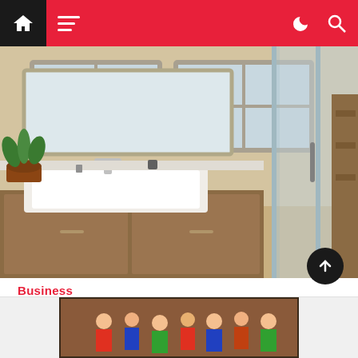Navigation bar with home, menu, dark mode, and search icons
[Figure (photo): Modern bathroom interior with a white rectangular sink, wooden vanity cabinet, large mirror, and frosted glass shower enclosure]
Business
dsprime  On 1 month Ago
BathStory raises $100k in an angel funding round from Balboa Ventures and Laxman Vaidya
[Figure (photo): Partially visible image at bottom of page showing a group of people, appears to be a news article image]